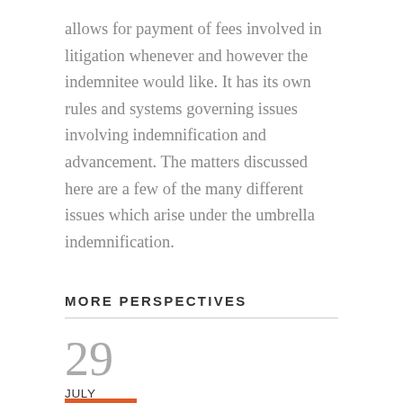allows for payment of fees involved in litigation whenever and however the indemnitee would like. It has its own rules and systems governing issues involving indemnification and advancement. The matters discussed here are a few of the many different issues which arise under the umbrella indemnification.
MORE PERSPECTIVES
29
JULY
2022